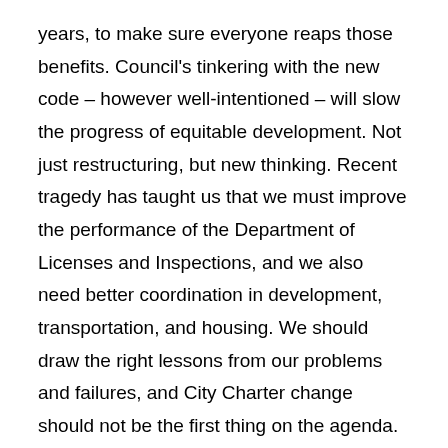years, to make sure everyone reaps those benefits. Council's tinkering with the new code – however well-intentioned – will slow the progress of equitable development. Not just restructuring, but new thinking. Recent tragedy has taught us that we must improve the performance of the Department of Licenses and Inspections, and we also need better coordination in development, transportation, and housing. We should draw the right lessons from our problems and failures, and City Charter change should not be the first thing on the agenda. City departments must be properly supervised, creatively led, and adequately funded. This may require restructuring, but that should be done thoughtfully and with ample professional study and public discussion. Make sure our past is ready for the future. The recent losses of unique, emblematic buildings and